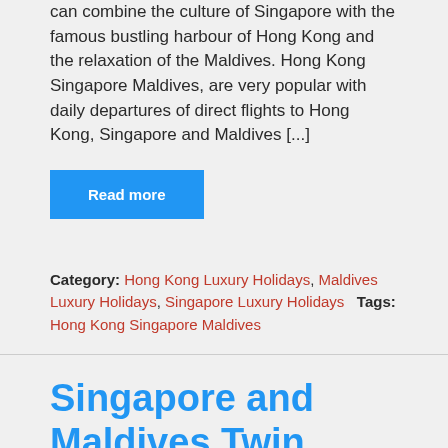can combine the culture of Singapore with the famous bustling harbour of Hong Kong and the relaxation of the Maldives. Hong Kong Singapore Maldives, are very popular with daily departures of direct flights to Hong Kong, Singapore and Maldives [...]
Read more
Category: Hong Kong Luxury Holidays, Maldives Luxury Holidays, Singapore Luxury Holidays   Tags: Hong Kong Singapore Maldives
Singapore and Maldives Twin Centre Holidays
Singapore and maldives twin centre holidays